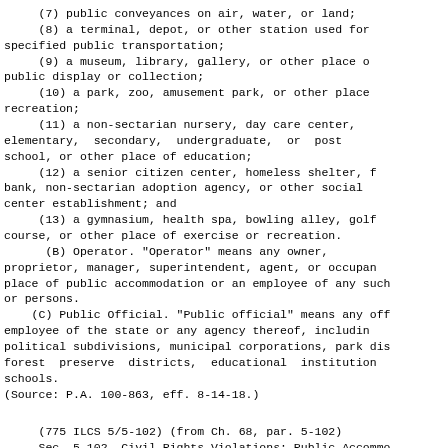(7) public conveyances on air, water, or land;
(8) a terminal, depot, or other station used for specified public transportation;
(9) a museum, library, gallery, or other place of public display or collection;
(10) a park, zoo, amusement park, or other place of recreation;
(11) a non-sectarian nursery, day care center, elementary, secondary, undergraduate, or post school, or other place of education;
(12) a senior citizen center, homeless shelter, food bank, non-sectarian adoption agency, or other social center establishment; and
(13) a gymnasium, health spa, bowling alley, golf course, or other place of exercise or recreation.
(B) Operator. "Operator" means any owner, proprietor, manager, superintendent, agent, or occupant of a place of public accommodation or an employee of any such person or persons.
(C) Public Official. "Public official" means any officer or employee of the state or any agency thereof, including political subdivisions, municipal corporations, park districts, forest preserve districts, educational institutions, and schools.
(Source: P.A. 100-863, eff. 8-14-18.)
(775 ILCS 5/5-102) (from Ch. 68, par. 5-102)
Sec. 5-102. Civil Rights Violations: Public Accommodations. It is a civil rights violation for any person on the basis of unlawful discrimination to: